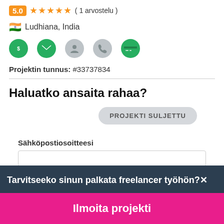5.0 ★★★★★ ( 1 arvostelu )
🇮🇳 Ludhiana, India
[Figure (illustration): Five green verification/badge icons: dollar shield, email, person, phone, payment card]
Projektin tunnus: #33737834
Haluatko ansaita rahaa?
PROJEKTI SULJETTU
Sähköpostiosoitteesi
Tarvitseeko sinun palkata freelancer työhön?
Ilmoita projekti